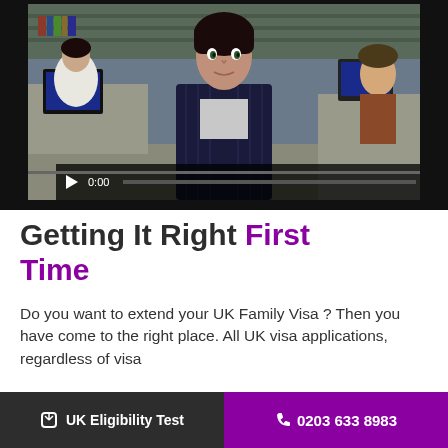[Figure (screenshot): Video thumbnail showing a woman in a dark pinstripe blazer in an office environment, with video player controls showing 0:00 timestamp and a progress bar at the bottom]
Getting It Right First Time
Do you want to extend your UK Family Visa ? Then you have come to the right place. All UK visa applications, regardless of visa
UK Eligibility Test   0203 633 8983